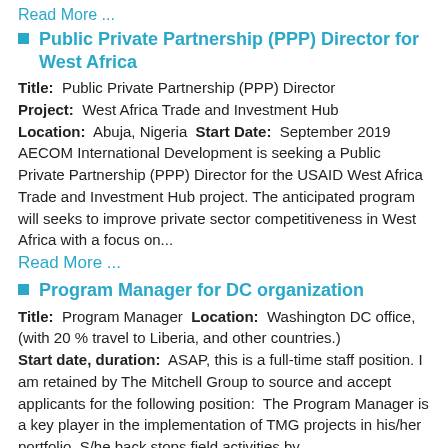Read More ...
Public Private Partnership (PPP) Director for West Africa
Title: Public Private Partnership (PPP) Director Project: West Africa Trade and Investment Hub Location: Abuja, Nigeria Start Date: September 2019 AECOM International Development is seeking a Public Private Partnership (PPP) Director for the USAID West Africa Trade and Investment Hub project. The anticipated program will seeks to improve private sector competitiveness in West Africa with a focus on...
Read More ...
Program Manager for DC organization
Title: Program Manager Location: Washington DC office, (with 20 % travel to Liberia, and other countries.) Start date, duration: ASAP, this is a full-time staff position. I am retained by The Mitchell Group to source and accept applicants for the following position: The Program Manager is a key player in the implementation of TMG projects in his/her portfolio. S/he back stops field activities by